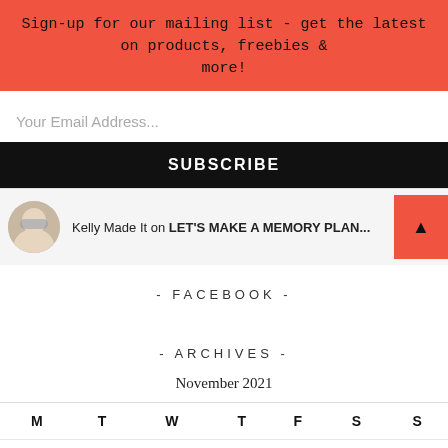Sign-up for our mailing list - get the latest on products, freebies & more!
Your Email Address...
SUBSCRIBE
Kelly Made It on LET'S MAKE A MEMORY PLAN...
- FACEBOOK -
- ARCHIVES -
November 2021
| M | T | W | T | F | S | S |
| --- | --- | --- | --- | --- | --- | --- |
| 1 | 2 | 3 | 4 | 5 | 6 | 7 |